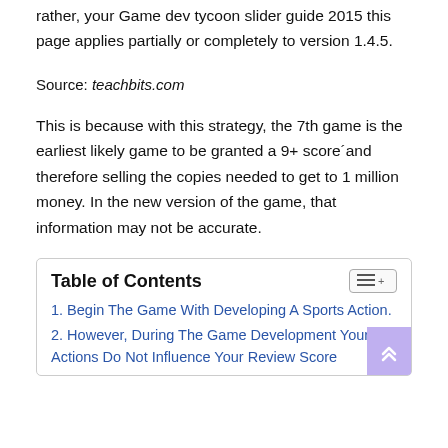rather, your Game dev tycoon slider guide 2015 this page applies partially or completely to version 1.4.5.
Source: teachbits.com
This is because with this strategy, the 7th game is the earliest likely game to be granted a 9+ score´and therefore selling the copies needed to get to 1 million money. In the new version of the game, that information may not be accurate.
Table of Contents
1. Begin The Game With Developing A Sports Action.
2. However, During The Game Development Your Actions Do Not Influence Your Review Score Directly But Rather...